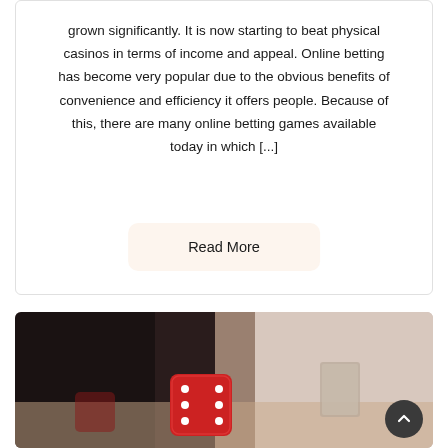grown significantly. It is now starting to beat physical casinos in terms of income and appeal. Online betting has become very popular due to the obvious benefits of convenience and efficiency it offers people. Because of this, there are many online betting games available today in which [...]
Read More
[Figure (photo): Close-up photo of a red dice on a table with blurred background showing playing cards; dark left side and light right side background]